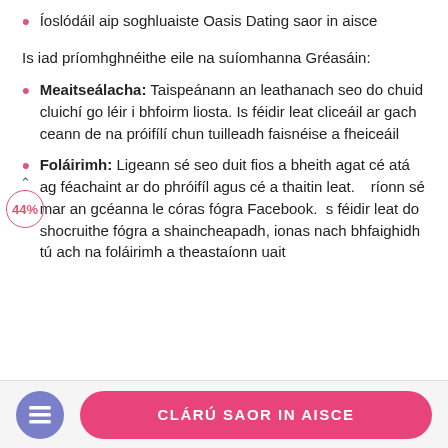Íoslódáil aip soghluaiste Oasis Dating saor in aisce
Is iad príomhghnéithe eile na suíomhanna Gréasáin:
Meaitseálacha: Taispeánann an leathanach seo do chuid cluichí go léir i bhfoirm liosta. Is féidir leat cliceáil ar gach ceann de na próifílí chun tuilleadh faisnéise a fheiceáil
Foláirimh: Ligeann sé seo duit fios a bheith agat cé atá ag féachaint ar do phróifíl agus cé a thaitin leat. Oibríonn sé mar an gcéanna le córas fógra Facebook. Is féidir leat do shocruithe fógra a shaincheapadh, ionas nach bhfaighidh tú ach na foláirimh a theastaíonn uait